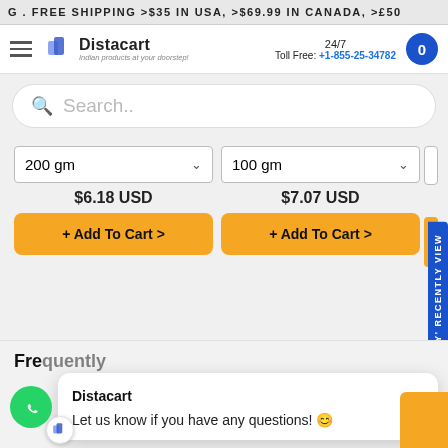G . FREE SHIPPING >$35 IN USA, >$69.99 IN CANADA, >£50
[Figure (logo): Distacart logo with cart icon and tagline 'Indian products at your doorstep!']
24/7 Toll Free: +1-855-25-34782
Search..
200 gm
$6.18 USD
+ Add To Cart >
100 gm
$7.07 USD
+ Add To Cart >
Sign up & say' RECENTLY VIEW
Frequently
Distacart
Let us know if you have any questions! 😊